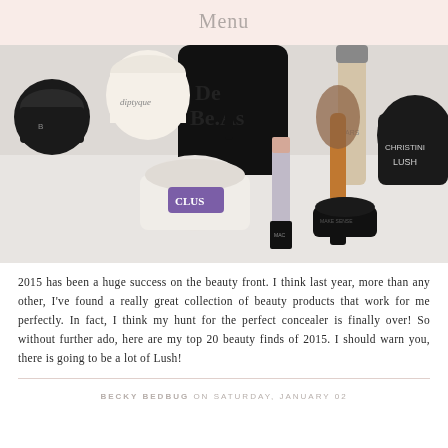Menu
[Figure (photo): Flat lay photo of various beauty products on a white surface including MAC lipstick, Lush products, NARS foundation, a makeup brush, and other cosmetics.]
2015 has been a huge success on the beauty front. I think last year, more than any other, I've found a really great collection of beauty products that work for me perfectly. In fact, I think my hunt for the perfect concealer is finally over! So without further ado, here are my top 20 beauty finds of 2015. I should warn you, there is going to be a lot of Lush!
BECKY BEDBUG ON SATURDAY, JANUARY 02